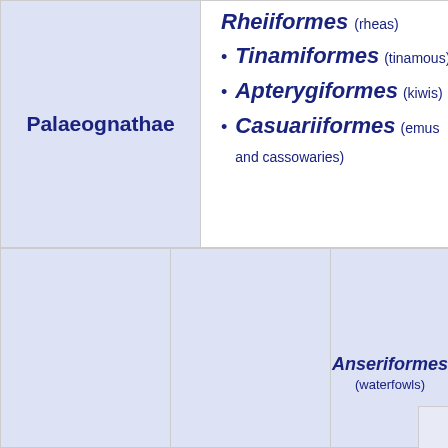Rheiiformes (rheas)
Palaeognathae
Tinamiformes (tinamous)
Apterygiformes (kiwis)
Casuariiformes (emus and cassowaries)
Anseriformes (waterfowls)